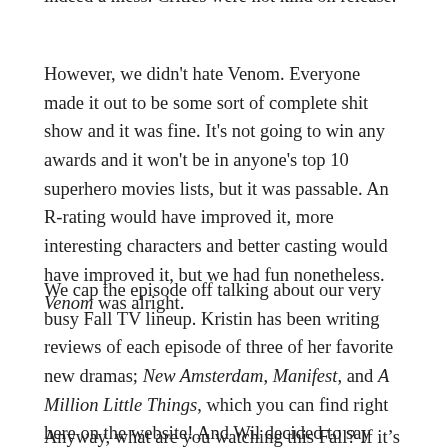indeed a mess. Critics were not kind on release.
However, we didn't hate Venom. Everyone made it out to be some sort of complete shit show and it was fine. It's not going to win any awards and it won't be in anyone's top 10 superhero movies lists, but it was passable. An R-rating would have improved it, more interesting characters and better casting would have improved it, but we had fun nonetheless. Venom was alright.
We cap the episode off talking about our very busy Fall TV lineup. Kristin has been writing reviews of each episode of three of her favorite new dramas; New Amsterdam, Manifest, and A Million Little Things, which you can find right here on the website! And Wil decided to say "fuck a 3-camera sitcom." We're above those now.
Anyway, what are you watching this Fall? If it's any good